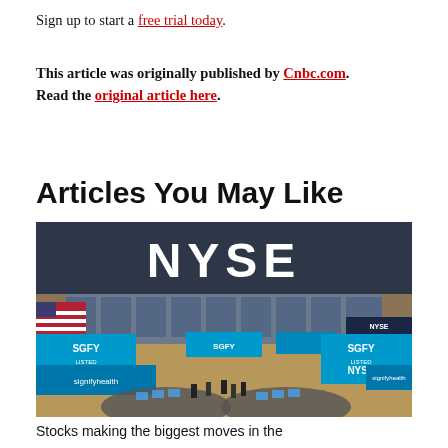Sign up to start a free trial today.
This article was originally published by Cnbc.com. Read the original article here.
Articles You May Like
[Figure (photo): Interior of the New York Stock Exchange (NYSE) trading floor with blue SGFY / signifyhealth listed banners and NYSE signage visible. American flag on the left wall, traders on the floor, circular trading posts visible.]
Stocks making the biggest moves in the